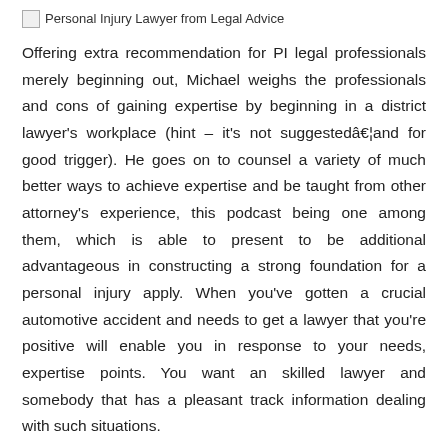[Figure (other): Broken image placeholder with text: Personal Injury Lawyer from Legal Advice]
Offering extra recommendation for PI legal professionals merely beginning out, Michael weighs the professionals and cons of gaining expertise by beginning in a district lawyer's workplace (hint – it's not suggestedâ€¦and for good trigger). He goes on to counsel a variety of much better ways to achieve expertise and be taught from other attorney's experience, this podcast being one among them, which is able to present to be additional advantageous in constructing a strong foundation for a personal injury apply. When you've gotten a crucial automotive accident and needs to get a lawyer that you're positive will enable you in response to your needs, expertise points. You want an skilled lawyer and somebody that has a pleasant track information dealing with such situations.